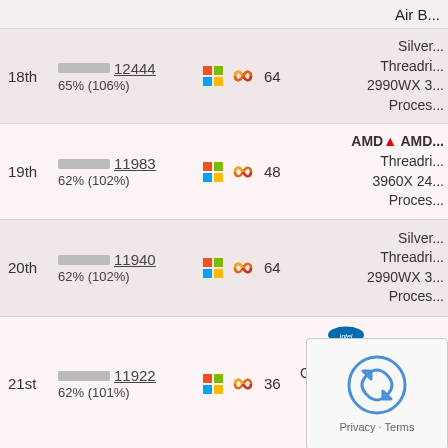Air B...
18th  12444  65% (106%)  64  Silver... Threadri... 2990WX 3... Proces...
19th  11983  62% (102%)  48  AMD AMD... Threadri... 3960X 24... Proces...
20th  11940  62% (102%)  64  Silver... Threadri... 2990WX 3... Proces...
21st  11922  62% (101%)  36  Intel... Core(TM... AD Ventur...